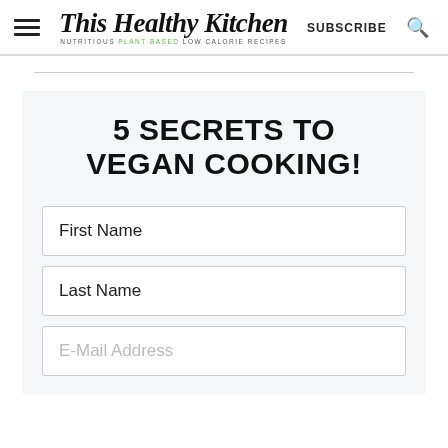This Healthy Kitchen — NUTRITIOUS PLANT BASED LOW CALORIE RECIPES — SUBSCRIBE
5 SECRETS TO VEGAN COOKING!
First Name
Last Name
E-Mail Address